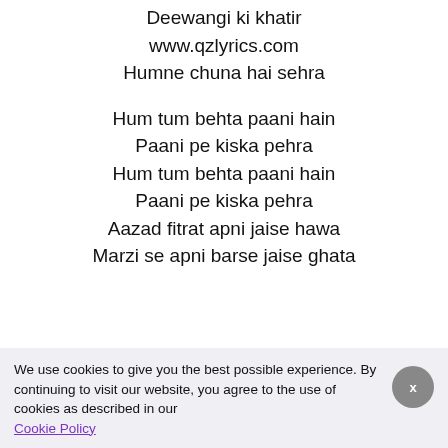Deewangi ki khatir
www.qzlyrics.com
Humne chuna hai sehra
Hum tum behta paani hain
Paani pe kiska pehra
Hum tum behta paani hain
Paani pe kiska pehra
Aazad fitrat apni jaise hawa
Marzi se apni barse jaise ghata
We use cookies to give you the best possible experience. By continuing to visit our website, you agree to the use of cookies as described in our Cookie Policy